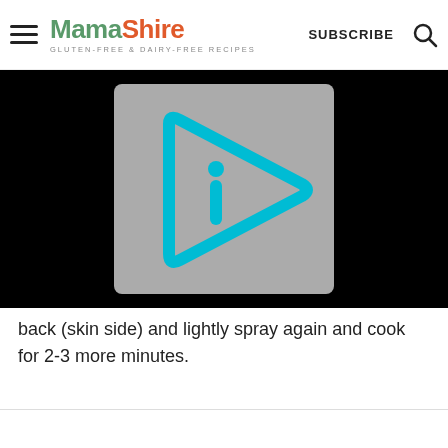MamaShire — GLUTEN-FREE & DAIRY-FREE RECIPES | SUBSCRIBE
[Figure (screenshot): Video player thumbnail with gray background and cyan play button icon (triangle with 'i' letter inside)]
back (skin side) and lightly spray again and cook for 2-3 more minutes.